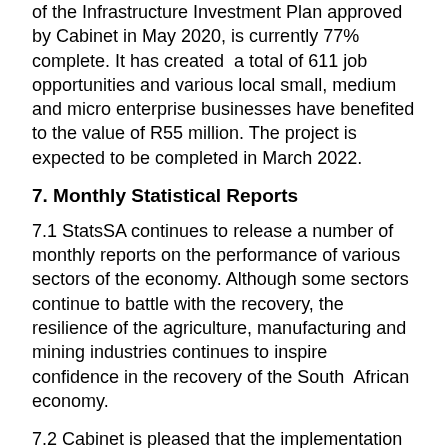of the Infrastructure Investment Plan approved by Cabinet in May 2020, is currently 77% complete. It has created a total of 611 job opportunities and various local small, medium and micro enterprise businesses have benefited to the value of R55 million. The project is expected to be completed in March 2022.
7. Monthly Statistical Reports
7.1 StatsSA continues to release a number of monthly reports on the performance of various sectors of the economy. Although some sectors continue to battle with the recovery, the resilience of the agriculture, manufacturing and mining industries continues to inspire confidence in the recovery of the South African economy.
7.2 Cabinet is pleased that the implementation of the Economic Reconstruction and Recovery Plan is making noticeable impact in South Africa's recovery.
8. Bullying at schools
8.1 Cabinet expressed concern about the prevalence of bullying in our schools, which included the recent incidents at Mbilwi Secondary School in Thohoyandou, Limpopo, Dinwiddie High School in Germiston, Gauteng and